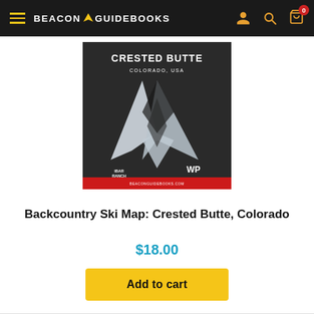BEACON GUIDEBOOKS
[Figure (illustration): Book cover for 'Backcountry Ski Map: Crested Butte, Colorado' showing a dark background with a large white angular arrow/navigation symbol, text 'CRESTED BUTTE COLORADO, USA', logos for Ibar Ranch and Wilderness Press, and a red bottom bar with beaconguidebooks.com]
Backcountry Ski Map: Crested Butte, Colorado
$18.00
Add to cart